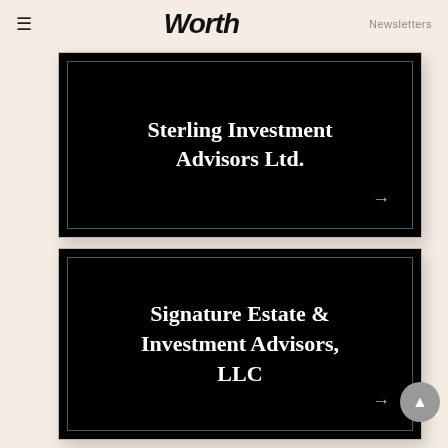Worth  Newsletters
[Figure (other): Black card with white bold serif text reading 'Sterling Investment Advisors Ltd.' and a gold arrow pointing right at bottom-right corner]
[Figure (other): Black card with white bold serif text reading 'Signature Estate & Investment Advisors, LLC' and a gold arrow pointing right at bottom-right corner]